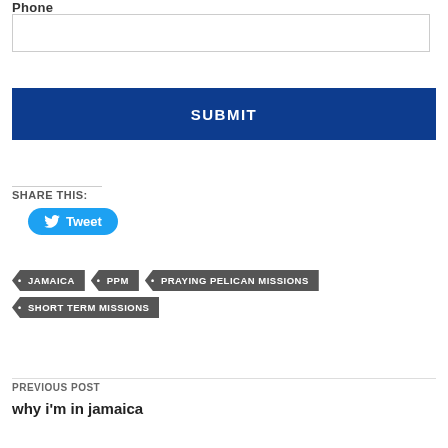Phone
SUBMIT
SHARE THIS:
Tweet
JAMAICA
PPM
PRAYING PELICAN MISSIONS
SHORT TERM MISSIONS
PREVIOUS POST
why i'm in jamaica